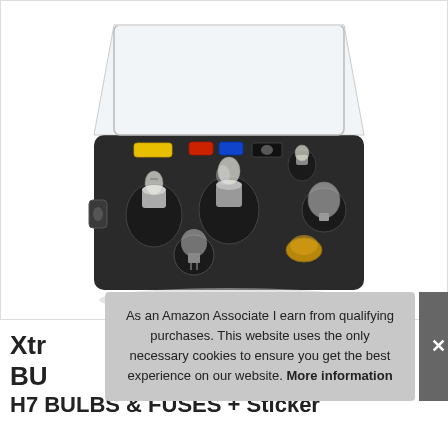[Figure (photo): A car emergency bulb and fuse kit shown in an open black plastic carry case with a clear hinged lid. The kit contains multiple halogen headlight bulbs (H1, H4 style), various smaller indicator/rear bulbs, and assorted fuses in red, blue, and yellow colors arranged in molded foam slots.]
As an Amazon Associate I earn from qualifying purchases. This website uses the only necessary cookies to ensure you get the best experience on our website. More information
Xtr... BU... H7 BULBS & FUSES + Sticker